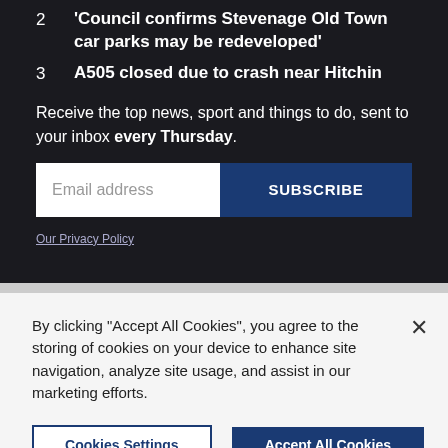2  'Council confirms Stevenage Old Town car parks may be redeveloped'
3  A505 closed due to crash near Hitchin
Receive the top news, sport and things to do, sent to your inbox every Thursday.
Our Privacy Policy
By clicking "Accept All Cookies", you agree to the storing of cookies on your device to enhance site navigation, analyze site usage, and assist in our marketing efforts.
Cookies Settings
Accept All Cookies